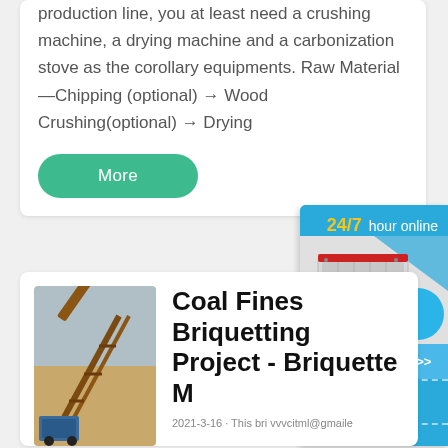production line, you at least need a crushing machine, a drying machine and a carbonization stove as the corollary equipments. Raw Material—Chipping (optional) → Wood Crushing(optional) → Drying
More
[Figure (other): 24/7 hour online widget with machine illustration, Click me to chat>> button, Enquiry section, and email bar]
[Figure (photo): Construction/mining site with heavy machinery conveyor equipment]
Coal Fines Briquetting Project - Briquette M
2021-3-16 · This bri vvvcitml@gmaile